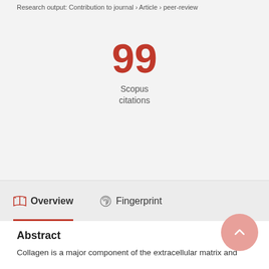Research output: Contribution to journal › Article › peer-review
99
Scopus
citations
Overview
Fingerprint
Abstract
Collagen is a major component of the extracellular matrix and